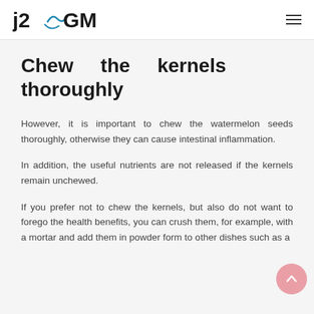j2GMN
Chew the kernels thoroughly
However, it is important to chew the watermelon seeds thoroughly, otherwise they can cause intestinal inflammation.
In addition, the useful nutrients are not released if the kernels remain unchewed.
If you prefer not to chew the kernels, but also do not want to forego the health benefits, you can crush them, for example, with a mortar and add them in powder form to other dishes such as a